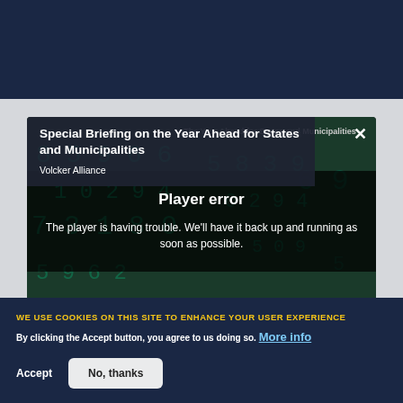Special Briefing on the Year Ahead for States and Municipalities
Volcker Alliance
Player error
The player is having trouble. We'll have it back up and running as soon as possible.
Special Briefing
January 14, 2021 | 11:00 AM EST
WE USE COOKIES ON THIS SITE TO ENHANCE YOUR USER EXPERIENCE
By clicking the Accept button, you agree to us doing so. More info
Accept
No, thanks